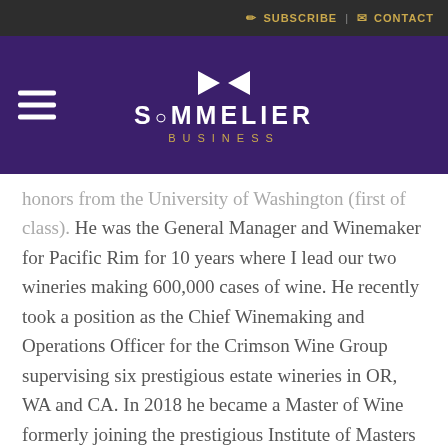SUBSCRIBE | CONTACT
SOMMELIER BUSINESS
honors from the University of Washington (first of class). He was the General Manager and Winemaker for Pacific Rim for 10 years where I lead our two wineries making 600,000 cases of wine. He recently took a position as the Chief Winemaking and Operations Officer for the Crimson Wine Group supervising six prestigious estate wineries in OR, WA and CA. In 2018 he became a Master of Wine formerly joining the prestigious Institute of Masters of Wine.